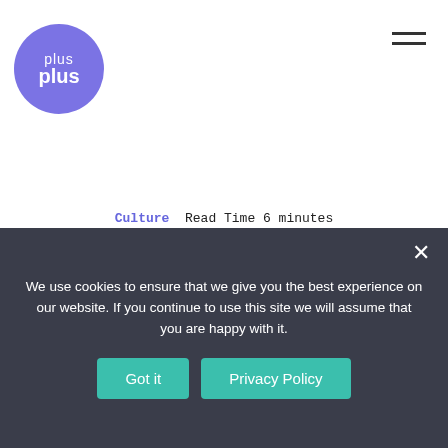[Figure (logo): Plus Plus logo — blue-purple circle with 'plus' text in thin weight on top and bold 'plus' on bottom in white]
Culture  Read Time 6 minutes
How L&D can team...
We use cookies to ensure that we give you the best experience on our website. If you continue to use this site we will assume that you are happy with it.
Got it   Privacy Policy